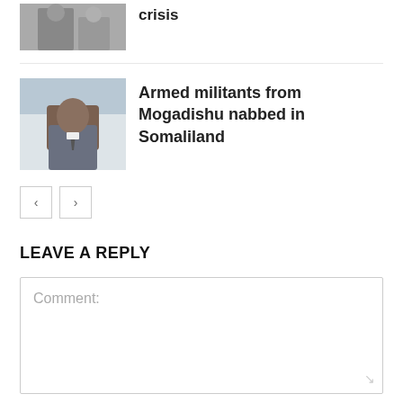[Figure (photo): Partial cropped thumbnail of two people, top of page]
crisis
[Figure (photo): Man in suit sitting at a desk in an office]
Armed militants from Mogadishu nabbed in Somaliland
< >
LEAVE A REPLY
Comment:
Name:*